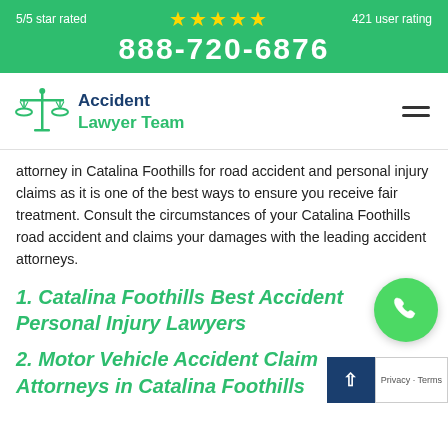5/5 star rated ★★★★★ 421 user rating
888-720-6876
[Figure (logo): Accident Lawyer Team logo with scales of justice icon]
attorney in Catalina Foothills for road accident and personal injury claims as it is one of the best ways to ensure you receive fair treatment. Consult the circumstances of your Catalina Foothills road accident and claims your damages with the leading accident attorneys.
1. Catalina Foothills Best Accident Personal Injury Lawyers
2. Motor Vehicle Accident Claim Attorneys in Catalina Foothills